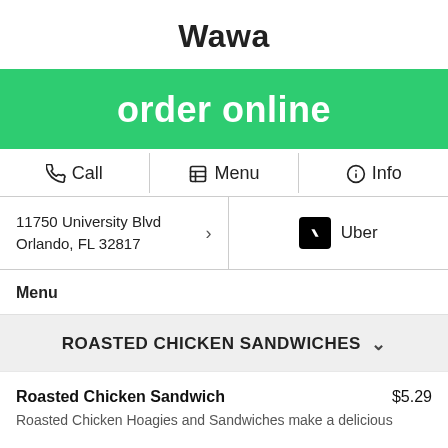Wawa
[Figure (other): Green 'order online' button banner]
Call  Menu  Info
11750 University Blvd Orlando, FL 32817
Uber
Menu
ROASTED CHICKEN SANDWICHES
Roasted Chicken Sandwich $5.29
Roasted Chicken Hoagies and Sandwiches make a delicious